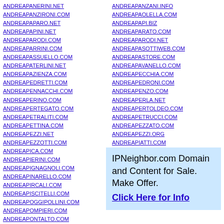ANDREAPANERINI.NET
ANDREAPANZIRONI.COM
ANDREAPAPARO.NET
ANDREAPAPINI.NET
ANDREAPARODI.COM
ANDREAPARRINI.COM
ANDREAPASSUELLO.COM
ANDREAPATERLINI.NET
ANDREAPAZIENZA.COM
ANDREAPEDRETTI.COM
ANDREAPENNACCHI.COM
ANDREAPERINO.COM
ANDREAPERTEGATO.COM
ANDREAPETRALITI.COM
ANDREAPETTINA.COM
ANDREAPEZZI.NET
ANDREAPEZZOTTI.COM
ANDREAPICA.COM
ANDREAPIERINI.COM
ANDREAPIGNAGNOLI.COM
ANDREAPINARELLO.COM
ANDREAPIRCALI.COM
ANDREAPISCITELLI.COM
ANDREAPOGGIPOLLINI.COM
ANDREAPOMPIERI.COM
ANDREAPONTALTO.COM
ANDREAPORRO.COM
ANDREAPOZZAN.COM
ANDREAPANZANI.INFO
ANDREAPAOLELLA.COM
ANDREAPAPI.BIZ
ANDREAPARATO.COM
ANDREAPARODI.NET
ANDREAPASOTTIWEB.COM
ANDREAPASTORE.COM
ANDREAPAVANELLO.COM
ANDREAPECCHIA.COM
ANDREAPEDRONI.COM
ANDREAPENZO.COM
ANDREAPERLA.NET
ANDREAPERTOLDEO.COM
ANDREAPETRUCCI.COM
ANDREAPEZZATO.COM
ANDREAPEZZI.ORG
ANDREAPIATTI.COM
ANDREAPICCINI.COM
ANDREAPIERRI.COM
ANDREAPILI.COM
ANDREAPINCELLA.COM
ANDREAPIRONI.COM
ANDREAPIVARI.COM
IPNeighbor.com Domain and Content for Sale. Make Offer. Click Here for Info